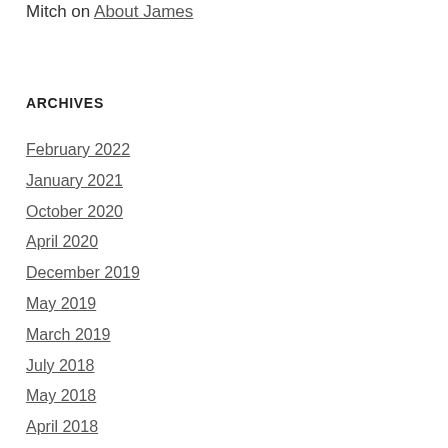Mitch on About James
ARCHIVES
February 2022
January 2021
October 2020
April 2020
December 2019
May 2019
March 2019
July 2018
May 2018
April 2018
January 2018
October 2017
September 2017